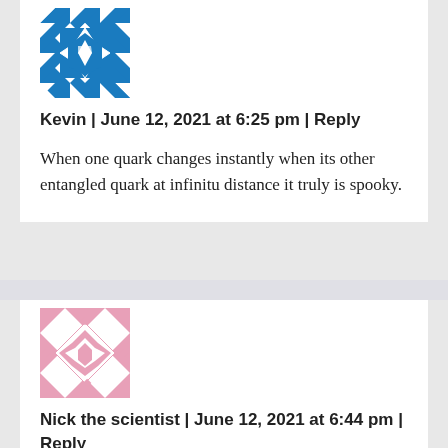[Figure (illustration): Blue geometric quilt-pattern avatar for user Kevin]
Kevin | June 12, 2021 at 6:25 pm | Reply
When one quark changes instantly when its other entangled quark at infinitu distance it truly is spooky.
[Figure (illustration): Pink geometric quilt-pattern avatar for user Nick the scientist]
Nick the scientist | June 12, 2021 at 6:44 pm | Reply
Nature article is amazing and groundbreaking; however, this Tech daily